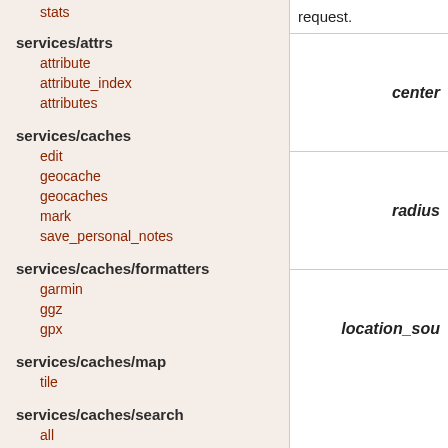stats
services/attrs
attribute
attribute_index
attributes
services/caches
edit
geocache
geocaches
mark
save_personal_notes
services/caches/formatters
garmin
ggz
gpx
services/caches/map
tile
services/caches/search
all
bbox
by_urls
nearest
save
request.
| center | radius | location_sou |
| --- | --- | --- |